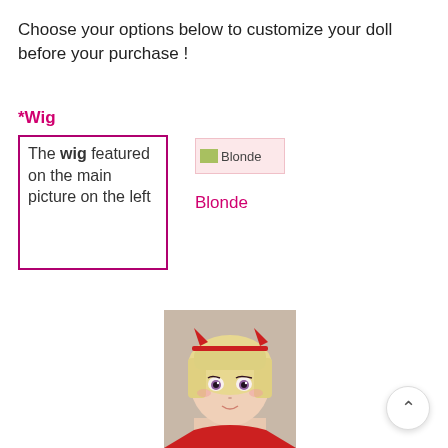Choose your options below to customize your doll before your purchase !
*Wig
The wig featured on the main picture on the left
[Figure (illustration): Broken image icon with label 'Blonde' on a pink background swatch]
Blonde
[Figure (photo): Anime-style doll face with blonde bob hair, red devil horns headband, wearing red outfit]